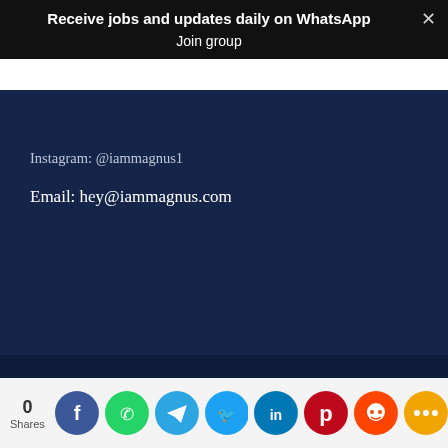Receive jobs and updates daily on WhatsApp
Join group
Instagram: @iammagnus1
Email: hey@iammagnus.com
Copyright © 2022 Verified Jobs.
[Figure (infographic): Social share bar with share count (0 Shares) and icons for Facebook, WhatsApp, Telegram, Twitter, LinkedIn, Pinterest, Reddit, and More]